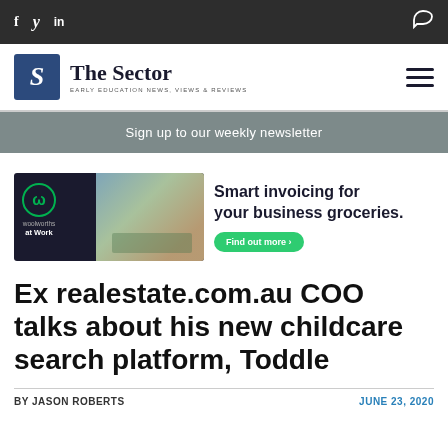f  𝕥  in  [comment icon]
[Figure (logo): The Sector logo - S icon with text 'The Sector' and tagline 'EARLY EDUCATION NEWS, VIEWS & REVIEWS']
Sign up to our weekly newsletter
[Figure (photo): Woolworths at Work advertisement banner: Smart invoicing for your business groceries. Find out more button.]
Ex realestate.com.au COO talks about his new childcare search platform, Toddle
BY JASON ROBERTS
JUNE 23, 2020